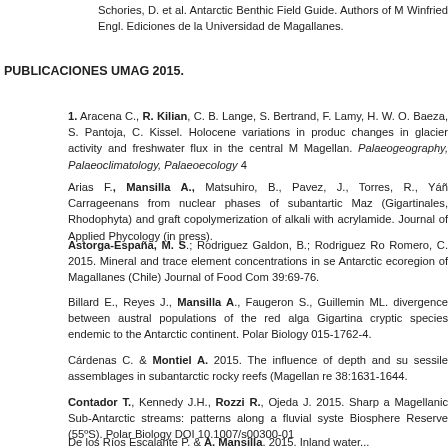Schories, D. et al. Antarctic Benthic Field Guide. Authors of M Winfried Engl. Ediciones de la Universidad de Magallanes.
PUBLICACIONES UMAG 2015.
1. Aracena C., R. Kilian, C. B. Lange, S. Bertrand, F. Lamy, H. W. O. Baeza, S. Pantoja, C. Kissel. Holocene variations in produc changes in glacier activity and freshwater flux in the central M Magellan. Palaeogeography, Palaeoclimatology, Palaeoecology 4
Arias F., Mansilla A., Matsuhiro, B., Pavez, J., Torres, R., Yáñ Carrageenans from nuclear phases of subantartic Maz (Gigartinales, Rhodophyta) and graft copolymerization of alkali with acrylamide. Journal of Applied Phycology (in press).
Astorga-España, M. S.; Rodriguez Galdon, B.; Rodriguez Ro Romero, C. 2015. Mineral and trace element concentrations in se Antarctic ecoregion of Magallanes (Chile) Journal of Food Com 39:69-76.
Billard E., Reyes J., Mansilla A., Faugeron S., Guillemin ML. divergence between austral populations of the red alga Gigartina cryptic species endemic to the Antarctic continent. Polar Biology 015-1762-4.
Cárdenas C. & Montiel A. 2015. The influence of depth and su sessile assemblages in subantarctic rocky reefs (Magellan re 38:1631-1644.
Contador T., Kennedy J.H., Rozzi R., Ojeda J. 2015. Sharp a Magellanic Sub-Antarctic streams: patterns along a fluvial syste Biosphere Reserve (55ºS). Polar Biology DOI 10.1007/s00300-01
Damiani A., R.R. Cordero, JF. Carrasco, S. Watanabe, M. Ka 2015. Changes in the UV Lambertian Equivalent Reflectivity in Remote Sensing of Environment 169: 75-92.
De los Ríos Escalante P. & A. Mansilla. 2015. Inland water...